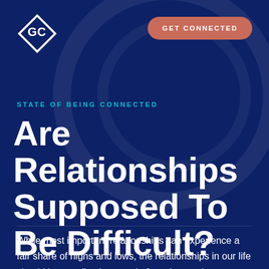[Figure (logo): GC diamond-shaped logo in white outline]
GET CONNECTED
STATE OF BEING CONNECTED
Are Relationships Supposed To Be Difficult?
While most important relationships can experience a fair share of highs and lows, the relationships in our life should be usually pleasant. In fact, the word relationship